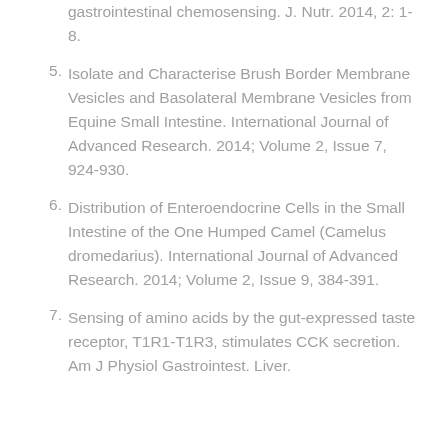gastrointestinal chemosensing. J. Nutr. 2014, 2: 1-8.
5. Isolate and Characterise Brush Border Membrane Vesicles and Basolateral Membrane Vesicles from Equine Small Intestine. International Journal of Advanced Research. 2014; Volume 2, Issue 7, 924-930.
6. Distribution of Enteroendocrine Cells in the Small Intestine of the One Humped Camel (Camelus dromedarius). International Journal of Advanced Research. 2014; Volume 2, Issue 9, 384-391.
7. Sensing of amino acids by the gut-expressed taste receptor, T1R1-T1R3, stimulates CCK secretion. Am J Physiol Gastrointest. Liver.